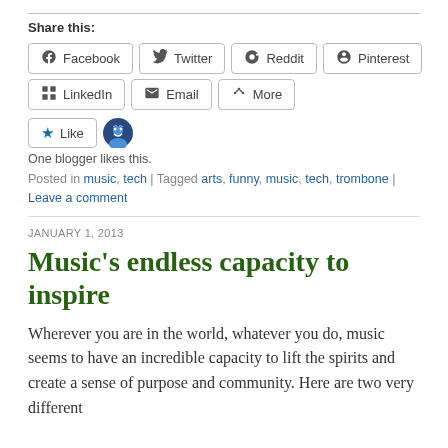Share this:
Facebook  Twitter  Reddit  Pinterest  LinkedIn  Email  More
Like
One blogger likes this.
Posted in music, tech | Tagged arts, funny, music, tech, trombone | Leave a comment
JANUARY 1, 2013
Music's endless capacity to inspire
Wherever you are in the world, whatever you do, music seems to have an incredible capacity to lift the spirits and create a sense of purpose and community. Here are two very different